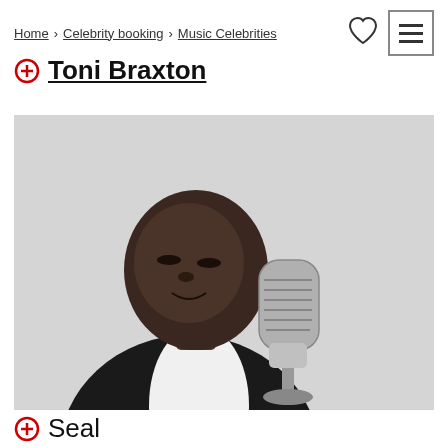Home > Celebrity booking > Music Celebrities
Toni Braxton
[Figure (photo): Black and white photo of a male singer performing at a vintage microphone, wearing a dark jacket with open collar shirt, eyes closed, singing.]
Seal